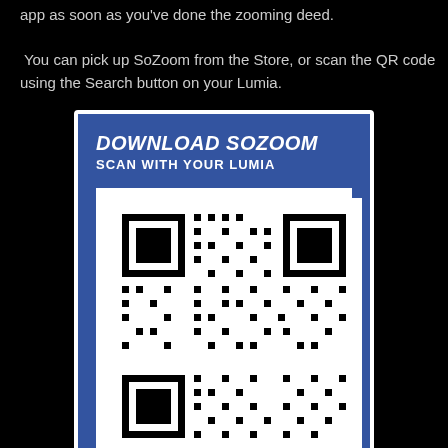app as soon as you've done the zooming deed.
You can pick up SoZoom from the Store, or scan the QR code using the Search button on your Lumia.
[Figure (other): Blue promotional card with white border containing bold white text 'DOWNLOAD SOZOOM / SCAN WITH YOUR LUMIA' and a QR code on white background below]